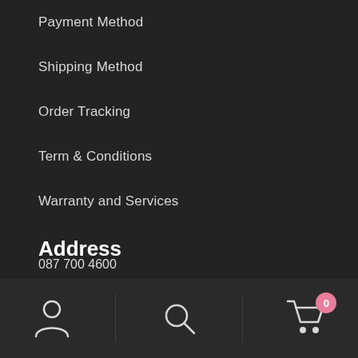Payment Method
Shipping Method
Order Tracking
Term & Conditions
Warranty and Services
Address
08 Dolphin Street
Manchester M12 6BG
United Kingdom
087 700 4600 (partially visible)